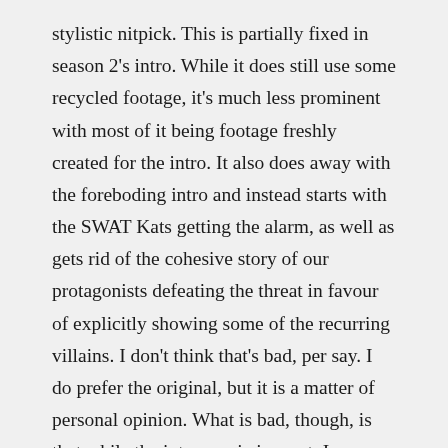stylistic nitpick. This is partially fixed in season 2's intro. While it does still use some recycled footage, it's much less prominent with most of it being footage freshly created for the intro. It also does away with the foreboding intro and instead starts with the SWAT Kats getting the alarm, as well as gets rid of the cohesive story of our protagonists defeating the threat in favour of explicitly showing some of the recurring villains. I don't think that's bad, per say. I do prefer the original, but it is a matter of personal opinion. What is bad, though, is that while the intro music is great, I can never recall it or any particular melody from it. It's all style with little substance, which is a good representation of the show overall.
For each episode, from auditing...